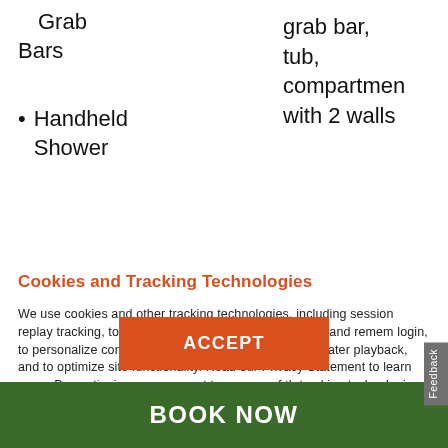Grab Bars
Handheld Shower
grab bar, tub, compartment with 2 walls
Cookies and Tracking Technologies
We use cookies and other tracking technologies, including session replay tracking, to improve your experience, to provide and remember login, to personalize content and ads, to record sessions for later playback, and to optimize site functionality. Read our Privacy Statement to learn more. By continuing, you consent to our use of the tracking technologies and our terms including important waivers. To learn more about the trackers on our site and change your preferences, View Settings.
ACCEPT
BOOK NOW